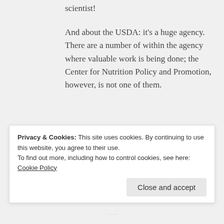scientist!
And about the USDA: it's a huge agency. There are a number of within the agency where valuable work is being done; the Center for Nutrition Policy and Promotion, however, is not one of them.
REPLY
[Figure (illustration): User avatar icon with pink/magenta geometric star/snowflake pattern]
Nate says: JANUARY 13, 2016 AT 11:25 AM
Man, am I jealous or what? I would
Privacy & Cookies: This site uses cookies. By continuing to use this website, you agree to their use.
To find out more, including how to control cookies, see here: Cookie Policy
Close and accept